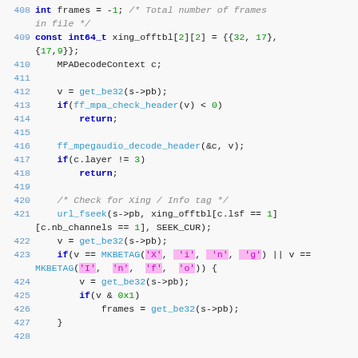[Figure (screenshot): Source code listing showing lines 408-427 of a C file related to MPEG audio frame parsing, with syntax highlighting. Functions like get_be32, ff_mpa_check_header, ff_mpegaudio_decode_header, url_fseek, MKBETAG are highlighted in blue/teal. Numeric literals in green. Character literals highlighted with pink background.]